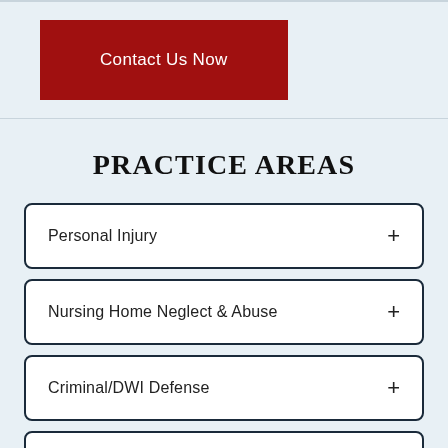Contact Us Now
PRACTICE AREAS
Personal Injury +
Nursing Home Neglect & Abuse +
Criminal/DWI Defense +
(partial fourth item)